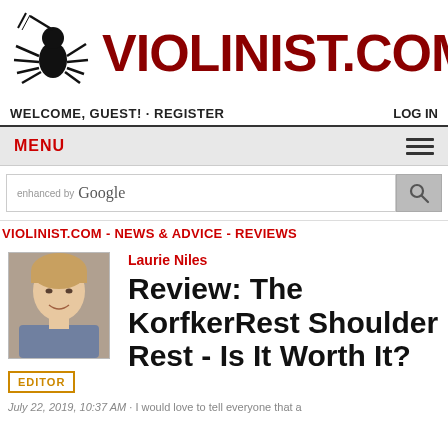[Figure (logo): Violinist.com logo with spider/musician silhouette on the left and VIOLINIST.COM text in dark red on the right]
WELCOME, GUEST! · REGISTER   LOG IN
MENU
enhanced by Google [search bar]
VIOLINIST.COM - NEWS & ADVICE - REVIEWS
Laurie Niles
Review: The KorfkerRest Shoulder Rest - Is It Worth It?
July 22, 2019, 10:37 AM · I would love to tell everyone that a